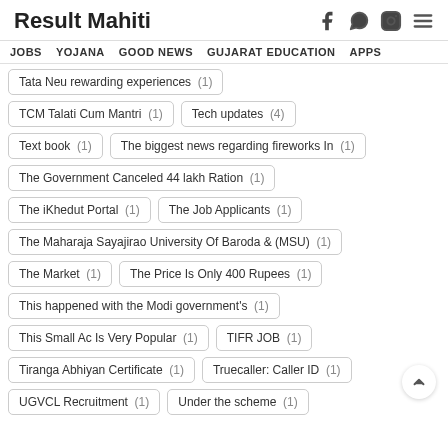Result Mahiti
JOBS
YOJANA
GOOD NEWS
GUJARAT EDUCATION
APPS
Tata Neu  rewarding experiences (1)
TCM Talati Cum Mantri (1)
Tech updates (4)
Text book (1)
The biggest news regarding fireworks In (1)
The Government Canceled 44 lakh Ration (1)
The iKhedut Portal (1)
The Job Applicants (1)
The Maharaja Sayajirao University Of Baroda & (MSU) (1)
The Market (1)
The Price Is Only 400 Rupees (1)
This happened with the Modi government's (1)
This Small Ac Is Very Popular (1)
TIFR JOB (1)
Tiranga Abhiyan Certificate (1)
Truecaller: Caller ID (1)
UGVCL Recruitment (1)
Under the scheme (1)